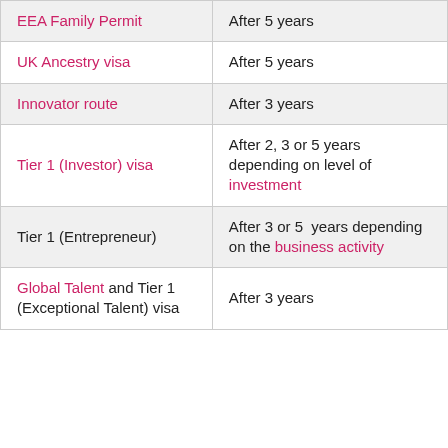| Visa/Route | Eligibility |
| --- | --- |
| EEA Family Permit | After 5 years |
| UK Ancestry visa | After 5 years |
| Innovator route | After 3 years |
| Tier 1 (Investor) visa | After 2, 3 or 5 years depending on level of investment |
| Tier 1 (Entrepreneur) | After 3 or 5 years depending on the business activity |
| Global Talent and Tier 1 (Exceptional Talent) visa | After 3 years |